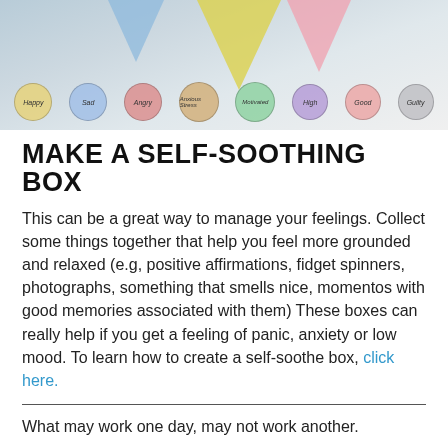[Figure (illustration): Illustrated image showing colored emotion circles labeled Happy, Sad, Angry, Anxious/Stressed, Motivated, High, Good, Guilty, with funnel/triangle shapes above on a light background.]
MAKE A SELF-SOOTHING BOX
This can be a great way to manage your feelings. Collect some things together that help you feel more grounded and relaxed (e.g, positive affirmations, fidget spinners, photographs, something that smells nice, momentos with good memories associated with them) These boxes can really help if you get a feeling of panic, anxiety or low mood. To learn how to create a self-soothe box, click here.
What may work one day, may not work another.